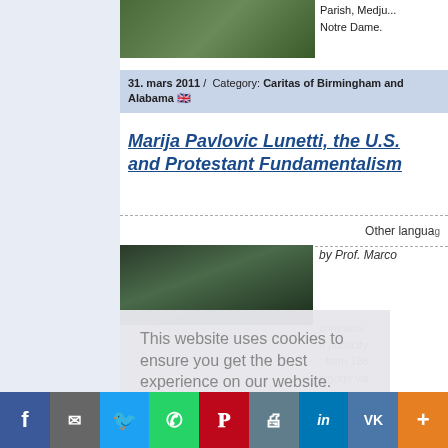[Figure (photo): Outdoor photo, trees and grass, partial view at top]
Parish, Medjugorje / Notre Dame.
31. mars 2011 / Category: Caritas of Birmingham and Alabama
Marija Pavlovic Lunetti, the U.S. and Protestant Fundamentalism
Other languages
[Figure (photo): Outdoor tree landscape photo, dark tones]
by Prof. Marco
communi... h publicity... from 198... jugorje vi...
it is parti... rines that... afrancesco...
s, under h...
This website uses cookies to ensure you get the best experience on our website.
Learn more
Got it!
Facebook | Email | Twitter | WhatsApp | Pinterest | Print | LinkedIn | VK | More